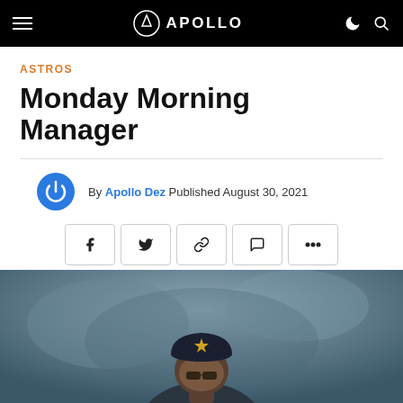APOLLO
ASTROS
Monday Morning Manager
By Apollo Dez Published August 30, 2021
[Figure (photo): Person wearing an Astros baseball cap and sunglasses, photographed from the shoulders up against a blurred stadium background.]